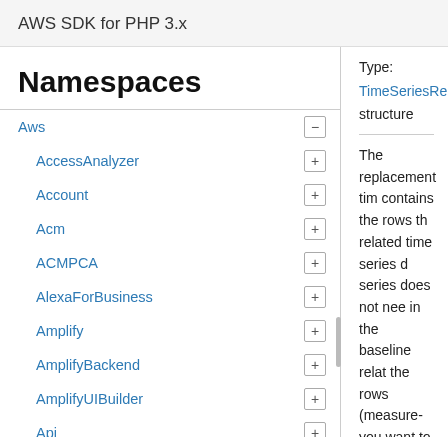AWS SDK for PHP 3.x
Namespaces
Aws
AccessAnalyzer
Account
Acm
ACMPCA
AlexaForBusiness
Amplify
AmplifyBackend
AmplifyUIBuilder
Api
ApiGateway
ApiGatewayManagementApi
Type:
TimeSeriesRep
structure
The replacement tim contains the rows th related time series d series does not nee in the baseline relat the rows (measure- you want to include dataset is merged w create a transforme what-if analysis.
This dataset should (such as item_id or